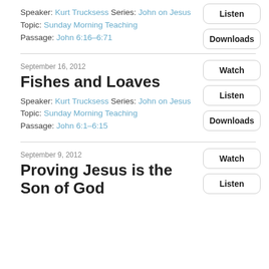Speaker: Kurt Trucksess Series: John on Jesus Topic: Sunday Morning Teaching Passage: John 6:16–6:71
Listen
Downloads
September 16, 2012
Fishes and Loaves
Speaker: Kurt Trucksess Series: John on Jesus Topic: Sunday Morning Teaching Passage: John 6:1–6:15
Watch
Listen
Downloads
September 9, 2012
Proving Jesus is the Son of God
Watch
Listen